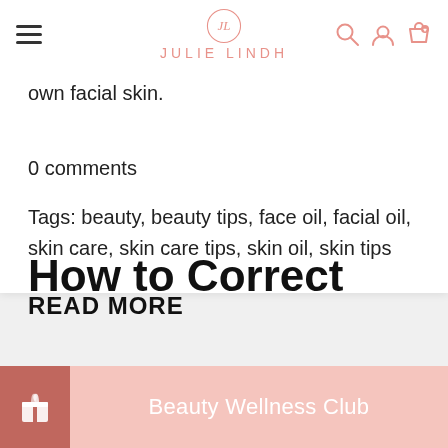Julie Lindh
own facial skin.
0 comments
Tags: beauty, beauty tips, face oil, facial oil, skin care, skin care tips, skin oil, skin tips
READ MORE
How to Correct
Beauty Wellness Club